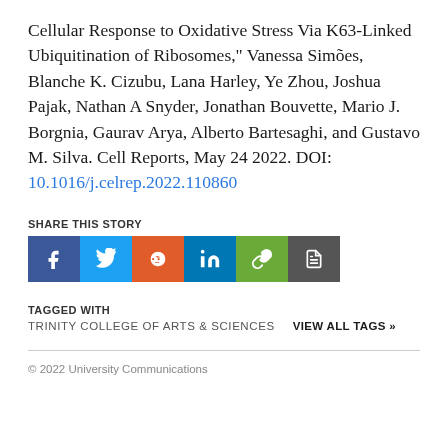Cellular Response to Oxidative Stress Via K63-Linked Ubiquitination of Ribosomes," Vanessa Simões, Blanche K. Cizubu, Lana Harley, Ye Zhou, Joshua Pajak, Nathan A Snyder, Jonathan Bouvette, Mario J. Borgnia, Gaurav Arya, Alberto Bartesaghi, and Gustavo M. Silva. Cell Reports, May 24 2022. DOI: 10.1016/j.celrep.2022.110860
SHARE THIS STORY
[Figure (infographic): Row of six social share buttons: Facebook (blue), Twitter (light blue), Reddit (orange), LinkedIn (blue), Link/URL (green), Copy (gray)]
TAGGED WITH
TRINITY COLLEGE OF ARTS & SCIENCES    VIEW ALL TAGS »
© 2022 University Communications